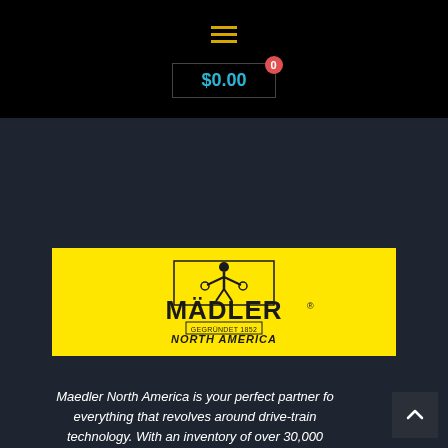[Figure (screenshot): Website navigation bar with hamburger menu icon (three yellow lines) on black background]
[Figure (screenshot): Shopping cart box showing $0.00 price in cyan with red badge showing 0, on black background]
[Figure (logo): Mädler North America logo on yellow background. Shows silhouette figure holding gears, bold MÄDLER text, 'GEGRÜNDET 1852' in box, 'NORTH AMERICA' text below]
Maedler North America is your perfect partner for everything that revolves around drive-train technology. With an inventory of over 30,000